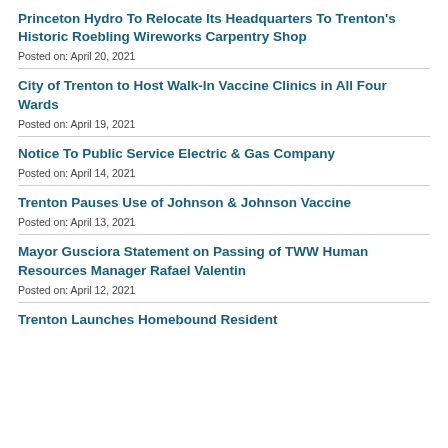Princeton Hydro To Relocate Its Headquarters To Trenton's Historic Roebling Wireworks Carpentry Shop
Posted on: April 20, 2021
City of Trenton to Host Walk-In Vaccine Clinics in All Four Wards
Posted on: April 19, 2021
Notice To Public Service Electric & Gas Company
Posted on: April 14, 2021
Trenton Pauses Use of Johnson & Johnson Vaccine
Posted on: April 13, 2021
Mayor Gusciora Statement on Passing of TWW Human Resources Manager Rafael Valentin
Posted on: April 12, 2021
Trenton Launches Homebound Resident